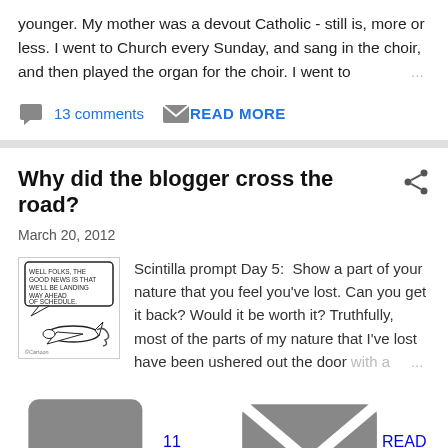younger. My mother was a devout Catholic - still is, more or less. I went to Church every Sunday, and sang in the choir, and then played the organ for the choir. I went to …
13 comments
READ MORE
Why did the blogger cross the road?
March 20, 2012
[Figure (illustration): Black and white cartoon of an airplane with a speech bubble reading: 'Well folks, the good news is that we'll be landing way ahead of schedule.']
Scintilla prompt Day 5: Show a part of your nature that you feel you've lost. Can you get it back? Would it be worth it? Truthfully, most of the parts of my nature that I've lost have been ushered out the door with a …
11 comments
READ MORE